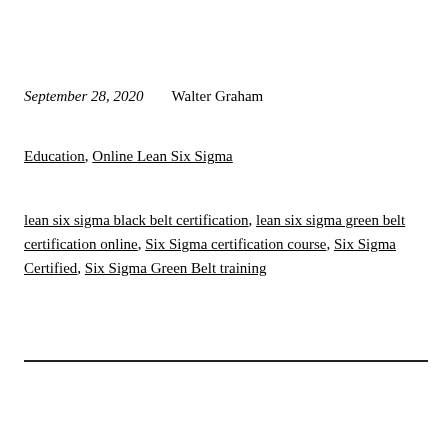September 28, 2020    Walter Graham
Education, Online Lean Six Sigma
lean six sigma black belt certification, lean six sigma green belt certification online, Six Sigma certification course, Six Sigma Certified, Six Sigma Green Belt training